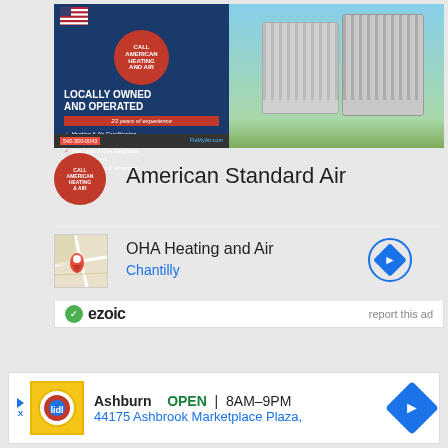[Figure (infographic): HVAC advertisement banner showing AC units with text 'LOCALLY OWNED AND OPERATED' and service list, phone number 540-300-0043, FixMyAir.com]
[Figure (logo): American Standard Air logo - circular red emblem with technician mascot]
American Standard Air
[Figure (map): Small map thumbnail with red location pin]
OHA Heating and Air
Chantilly
ezoic   report this ad
[Figure (infographic): Bottom ad: Ashburn OPEN 8AM-9PM, 44175 Ashbrook Marketplace Plaza, Lidl grocery store ad with navigation arrow]
Ashburn  OPEN  8AM–9PM
44175 Ashbrook Marketplace Plaza,